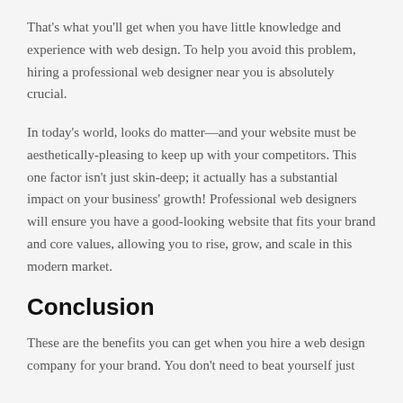That's what you'll get when you have little knowledge and experience with web design. To help you avoid this problem, hiring a professional web designer near you is absolutely crucial.
In today's world, looks do matter—and your website must be aesthetically-pleasing to keep up with your competitors. This one factor isn't just skin-deep; it actually has a substantial impact on your business' growth! Professional web designers will ensure you have a good-looking website that fits your brand and core values, allowing you to rise, grow, and scale in this modern market.
Conclusion
These are the benefits you can get when you hire a web design company for your brand. You don't need to beat yourself just